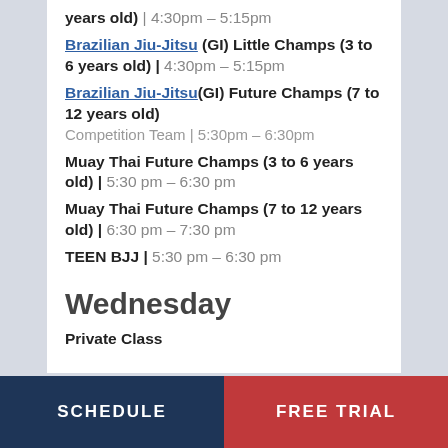years old) | 4:30pm – 5:15pm
Brazilian Jiu-Jitsu (GI) Little Champs (3 to 6 years old) | 4:30pm – 5:15pm
Brazilian Jiu-Jitsu(GI) Future Champs (7 to 12 years old) Competition Team | 5:30pm – 6:30pm
Muay Thai Future Champs (3 to 6 years old) | 5:30 pm – 6:30 pm
Muay Thai Future Champs (7 to 12 years old) | 6:30 pm – 7:30 pm
TEEN BJJ | 5:30 pm – 6:30 pm
Wednesday
Private Class
SCHEDULE   FREE TRIAL